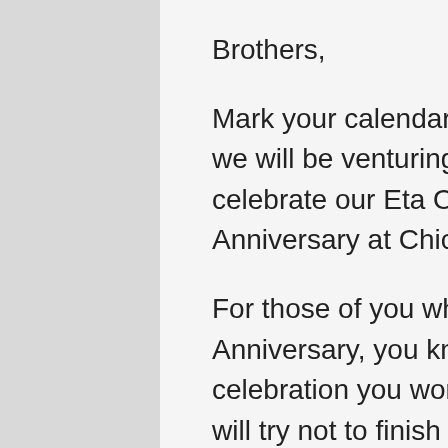Brothers,
Mark your calendars for November 11, 2017 as we will be venturing back to the home land to celebrate our Eta Omega Chapter’s 35th Anniversary at Chico State!
For those of you who attended the 25th Anniversary, you know that this will be a celebration you won’t want to miss. This time we will try not to finish our open bar tab in the first hour. Details about the event will be forth coming, but expect a classy dinner with moderately high debauchery. We will be getting a block of rooms at the OXford suites and also provide transportation to the event.
Similar to the 25th anniversary we will be launching a fundraising effort to raise $25,000. This money will be used to start a scholarship foundation through our National HQ. The foundation will allow our chapter to give out